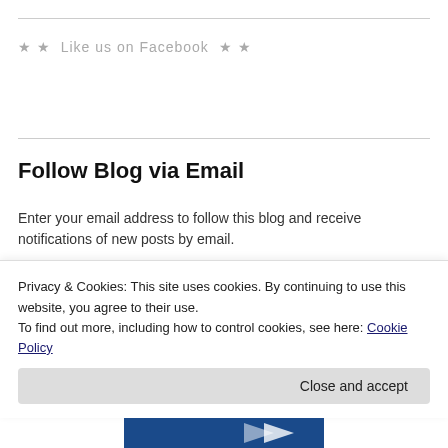★ ★  Like us on Facebook  ★ ★
Follow Blog via Email
Enter your email address to follow this blog and receive notifications of new posts by email.
Email Address
Privacy & Cookies: This site uses cookies. By continuing to use this website, you agree to their use. To find out more, including how to control cookies, see here: Cookie Policy
Close and accept